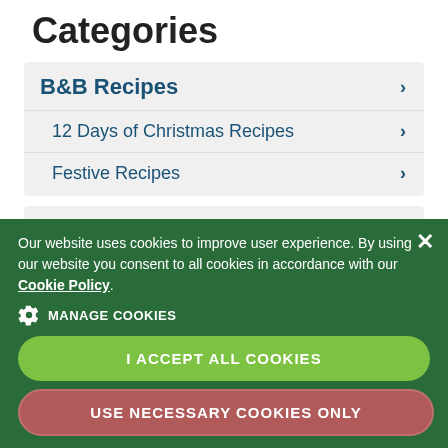Categories
B&B Recipes
12 Days of Christmas Recipes
Festive Recipes
Themed B&Bs
Activity
Farmstay
Food Lovers
Cooktecht Experience
Our website uses cookies to improve user experience. By using our website you consent to all cookies in accordance with our Cookie Policy.
MANAGE COOKIES
I ACCEPT ALL COOKIES
USE NECESSARY COOKIES ONLY